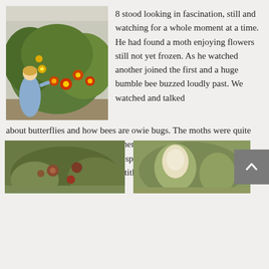[Figure (photo): Child crouching in front of a garden bed with colorful red and yellow flowers and green foliage]
8 stood looking in fascination, still and watching for a whole moment at a time. He had found a moth enjoying flowers still not yet frozen. As he watched another joined the first and a huge bumble bee buzzed loudly past. We watched and talked about butterflies and how bees are owie bugs. The moths were quite docile, nearly allowing 8 to pet them. We have a bit of an obsession with bugs around here, bugs and spiders. I've mentioned our pet spiders, Charlotte, Moxie and Eatith, but I haven't gotten around to our bugs yet.
[Figure (photo): Garden with reddish-brown flowers and green foliage at bottom left]
[Figure (photo): Light-colored flower or plant among green foliage at bottom right]